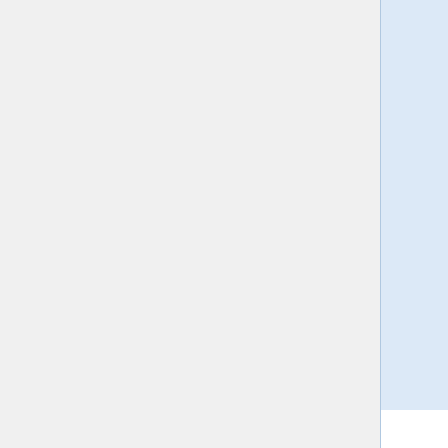the gradient projection method. The Lipschitz stability estimate of the Carleman convexification method is proved also via a Carleman estimate. Finally, our theoretical finding is verified via several numerical tests with computationally